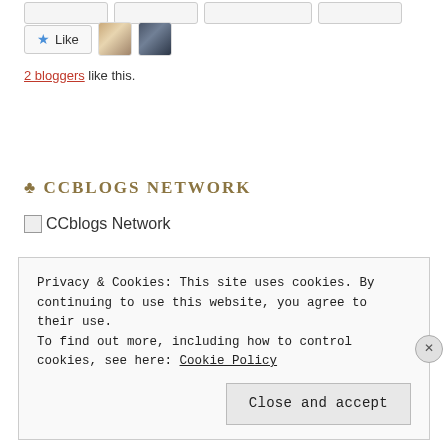[Figure (other): Like button with star icon and two blogger avatars]
2 bloggers like this.
♣ CCBLOGS NETWORK
[Figure (other): CCblogs Network logo image (broken image placeholder)]
Privacy & Cookies: This site uses cookies. By continuing to use this website, you agree to their use.
To find out more, including how to control cookies, see here: Cookie Policy
Close and accept